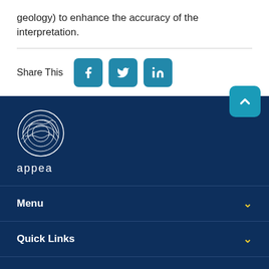geology) to enhance the accuracy of the interpretation.
Share This
[Figure (logo): APPEA logo - circular topographic line art emblem with 'appea' text below, white on dark blue background]
Menu
Quick Links
Social Media